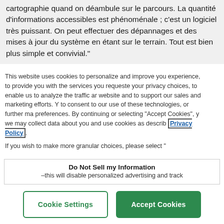cartographie quand on déambule sur le parcours. La quantité d'informations accessibles est phénoménale ; c'est un logiciel très puissant. On peut effectuer des dépannages et des mises à jour du système en étant sur le terrain. Tout est bien plus simple et convivial."
This website uses cookies to personalize and improve you experience, to provide you with the services you requeste your privacy choices, to enable us to analyze the traffic ar website and to support our sales and marketing efforts. Y to consent to our use of these technologies, or further ma preferences. By continuing or selecting "Accept Cookies", y we may collect data about you and use cookies as describ Privacy Policy.
If you wish to make more granular choices, please select "
Do Not Sell my Information –this will disable personalized advertising and track
Cookie Settings
Accept Cookies